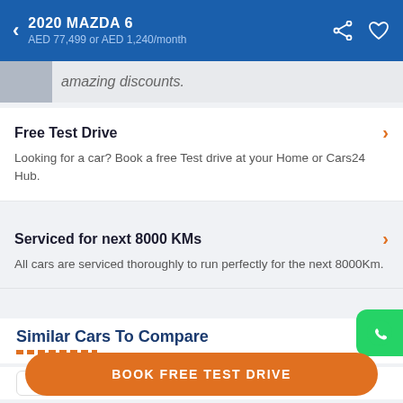2020 MAZDA 6 — AED 77,499 or AED 1,240/month
amazing discounts.
Free Test Drive
Looking for a car? Book a free Test drive at your Home or Cars24 Hub.
Serviced for next 8000 KMs
All cars are serviced thoroughly to run perfectly for the next 8000Km.
Similar Cars To Compare
Selected Cars   Similar Cars
BOOK FREE TEST DRIVE